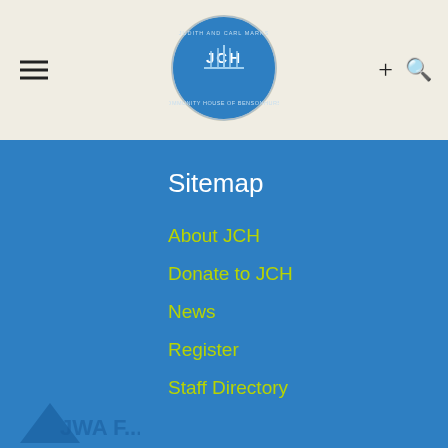[Figure (logo): JCH (Judith and Carl Marks Community House of Bensonhurst) circular logo with blue background and menorah symbol]
Sitemap
About JCH
Donate to JCH
News
Register
Staff Directory
Directions
Events Calendar
Terms of Use
Policies & Practices